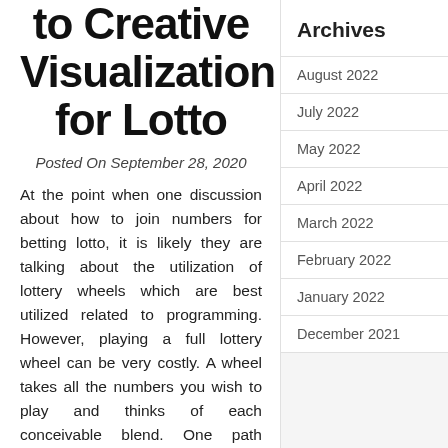to Creative Visualization for Lotto
Posted On September 28, 2020
At the point when one discussion about how to join numbers for betting lotto, it is likely they are talking about the utilization of lottery wheels which are best utilized related to programming. However, playing a full lottery wheel can be very costly. A wheel takes all the numbers you wish to play and thinks of each conceivable blend. One path around this is by uniting with other similar players and shaping
Archives
August 2022
July 2022
May 2022
April 2022
March 2022
February 2022
January 2022
December 2021